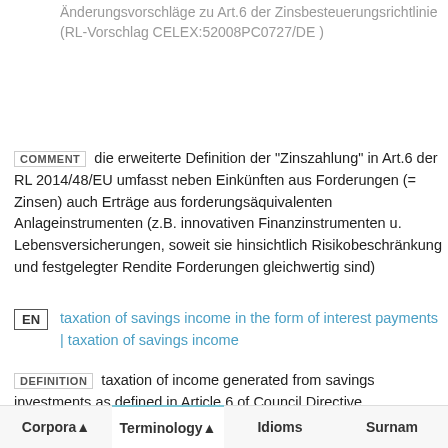Änderungsvorschläge zu Art.6 der Zinsbesteuerungsrichtlinie (RL-Vorschlag CELEX:52008PC0727/DE )
COMMENT die erweiterte Definition der "Zinszahlung" in Art.6 der RL 2014/48/EU umfasst neben Einkünften aus Forderungen (= Zinsen) auch Erträge aus forderungsäquivalenten Anlageinstrumenten (z.B. innovativen Finanzinstrumenten u. Lebensversicherungen, soweit sie hinsichtlich Risikobeschränkung und festgelegter Rendite Forderungen gleichwertig sind)
EN taxation of savings income in the form of interest payments | taxation of savings income
DEFINITION taxation of income generated from savings investments as defined in Article 6 of Council Directive 2003/48/EC ( Savings Tax
Corpora ▲  Terminology ▲  Idioms  Surnames